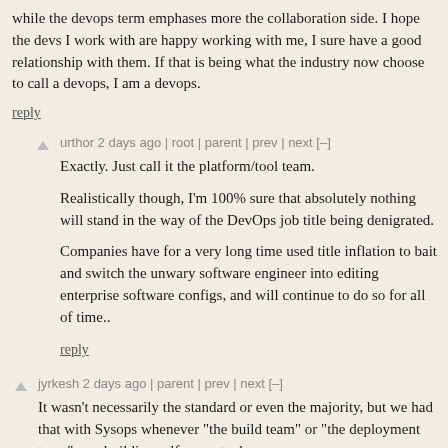while the devops term emphases more the collaboration side. I hope the devs I work with are happy working with me, I sure have a good relationship with them. If that is being what the industry now choose to call a devops, I am a devops.
reply
urthor 2 days ago | root | parent | prev | next [–]
Exactly. Just call it the platform/tool team.
Realistically though, I'm 100% sure that absolutely nothing will stand in the way of the DevOps job title being denigrated.
Companies have for a very long time used title inflation to bait and switch the unwary software engineer into editing enterprise software configs, and will continue to do so for all of time..
reply
jyrkesh 2 days ago | parent | prev | next [–]
It wasn't necessarily the standard or even the majority, but we had that with Sysops whenever "the build team" or "the deployment team" was building self-serve tools.
And I definitely agree with the article here that if you're using PaaS, you don't need a DevOps team. And there's certainly a better feedback loop there.
But many will argue that PaaS _still_ isn't there yet for highly complex applications. Unless you go to a point where you basically need a team managing the eventual